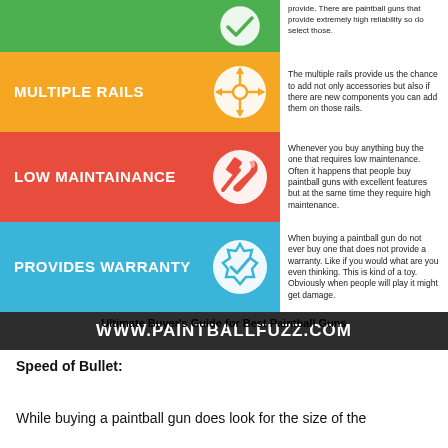[Figure (infographic): Infographic with 4 colored rows: green (checkmark icon, top partial), yellow (Multiple Rails, crosshair icon), red (Low Maintainance, tools icon), blue (Provides Warranty, badge icon), each with a white description panel on the right. Footer bar: www.paintballfuzz.com]
Ultimate Buyer's Guide for Best Paintball Guns
Speed of Bullet:
While buying a paintball gun does look for the size of the